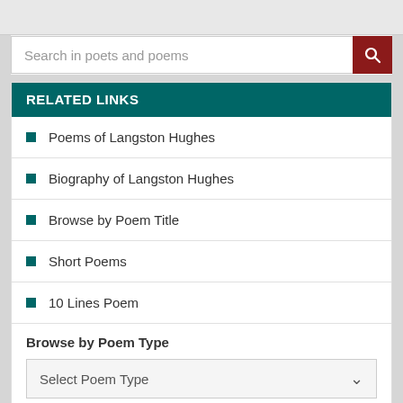Search in poets and poems
RELATED LINKS
Poems of Langston Hughes
Biography of Langston Hughes
Browse by Poem Title
Short Poems
10 Lines Poem
Browse by Poem Type
Select Poem Type